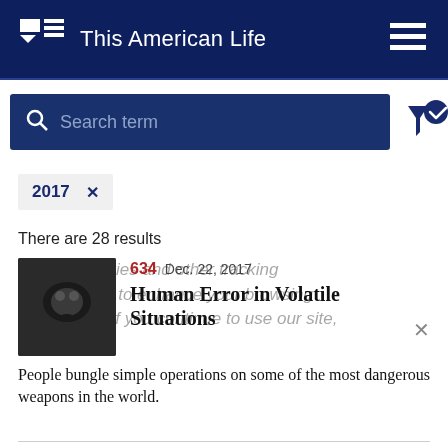This American Life
Search term
2017 ×
There are 28 results
[Figure (photo): Thumbnail image for episode 634 - dark atmospheric photo]
634  Dec. 22, 2017
Human Error in Volatile Situations
People bungle simple operations on some of the most dangerous weapons in the world.